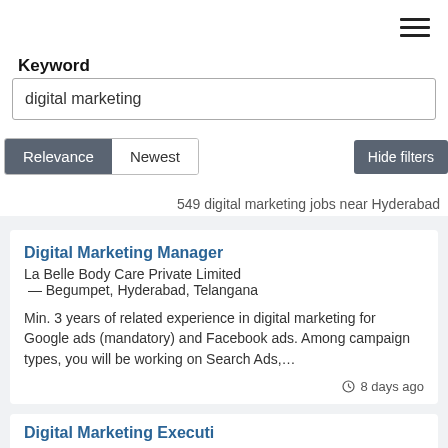[Figure (other): Hamburger menu icon (three horizontal lines) in top right corner]
Keyword
digital marketing
Relevance   Newest   Hide filters
549 digital marketing jobs near Hyderabad
Digital Marketing Manager
La Belle Body Care Private Limited  — Begumpet, Hyderabad, Telangana
Min. 3 years of related experience in digital marketing for Google ads (mandatory) and Facebook ads. Among campaign types, you will be working on Search Ads,…
8 days ago
Digital Marketing Executive